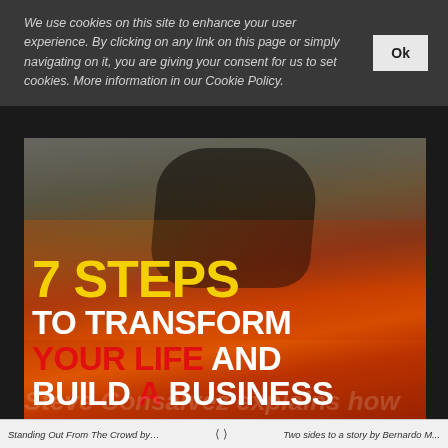We use cookies on this site to enhance your user experience. By clicking on any link on this page or simply navigating on it, you are giving your consent for us to set cookies. More information in our Cookie Policy.
[Figure (photo): Motion-blurred photo of a person running across glowing embers/lava. The image shows legs in motion with sparks flying, creating a dramatic fire-walk effect. Overlaid bold text reads: '7 STEPS TO TRANSFORM YOUR LIFE AND BUILD A BUSINESS'.]
Standing Out From The Crowd by P... < > Two sides to a story by Bernardo M...